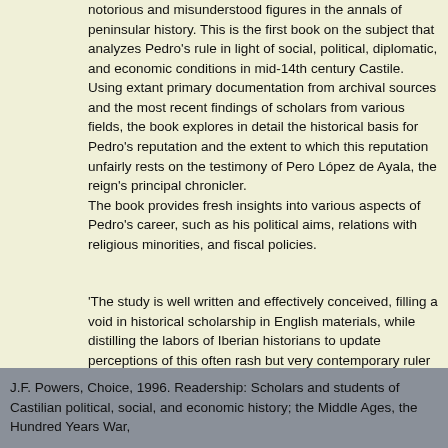notorious and misunderstood figures in the annals of peninsular history. This is the first book on the subject that analyzes Pedro's rule in light of social, political, diplomatic, and economic conditions in mid-14th century Castile.
Using extant primary documentation from archival sources and the most recent findings of scholars from various fields, the book explores in detail the historical basis for Pedro's reputation and the extent to which this reputation unfairly rests on the testimony of Pero López de Ayala, the reign's principal chronicler.
The book provides fresh insights into various aspects of Pedro's career, such as his political aims, relations with religious minorities, and fiscal policies.
'The study is well written and effectively conceived, filling a void in historical scholarship in English materials, while distilling the labors of Iberian historians to update perceptions of this often rash but very contemporary ruler of the later 14th century.'
J.F. Powers, Choice, 1996. Readership: Scholars and students of Castilian political, social, and economic history; the Middle Ages, the Hundred Years War,